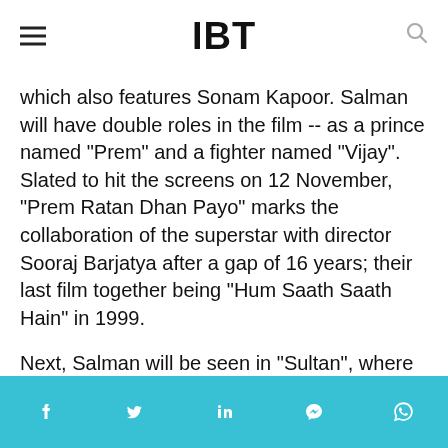IBT
which also features Sonam Kapoor. Salman will have double roles in the film -- as a prince named "Prem" and a fighter named "Vijay". Slated to hit the screens on 12 November, "Prem Ratan Dhan Payo" marks the collaboration of the superstar with director Sooraj Barjatya after a gap of 16 years; their last film together being "Hum Saath Saath Hain" in 1999.
Next, Salman will be seen in "Sultan", where he will play a wrestler from Haryana. Although he does not have any double role in the film, the
Social share icons: Facebook, Twitter, LinkedIn, Messenger, WhatsApp